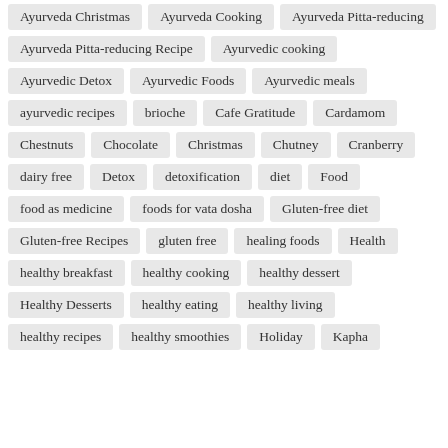Ayurveda Christmas
Ayurveda Cooking
Ayurveda Pitta-reducing
Ayurveda Pitta-reducing Recipe
Ayurvedic cooking
Ayurvedic Detox
Ayurvedic Foods
Ayurvedic meals
ayurvedic recipes
brioche
Cafe Gratitude
Cardamom
Chestnuts
Chocolate
Christmas
Chutney
Cranberry
dairy free
Detox
detoxification
diet
Food
food as medicine
foods for vata dosha
Gluten-free diet
Gluten-free Recipes
gluten free
healing foods
Health
healthy breakfast
healthy cooking
healthy dessert
Healthy Desserts
healthy eating
healthy living
healthy recipes
healthy smoothies
Holiday
Kapha